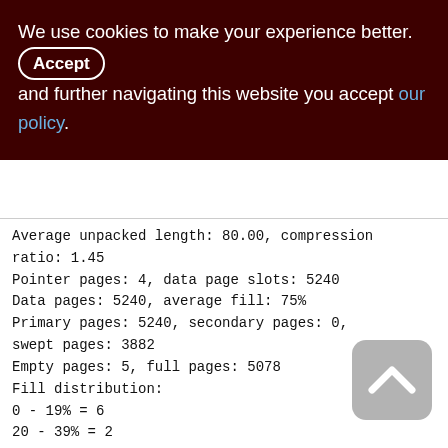We use cookies to make your experience better. By accepting and further navigating this website you accept our policy.
Average unpacked length: 80.00, compression ratio: 1.45
Pointer pages: 4, data page slots: 5240
Data pages: 5240, average fill: 75%
Primary pages: 5240, secondary pages: 0, swept pages: 3882
Empty pages: 5, full pages: 5078
Fill distribution:
0 - 19% = 6
20 - 39% = 2
40 - 59% = 3
60 - 79% = 5229
80 - 99% = 0
[Figure (other): Scroll-to-top button (gray rounded square with upward chevron arrow)]